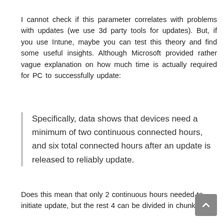I cannot check if this parameter correlates with problems with updates (we use 3d party tools for updates). But, if you use Intune, maybe you can test this theory and find some useful insights. Although Microsoft provided rather vague explanation on how much time is actually required for PC to successfully update:
Specifically, data shows that devices need a minimum of two continuous connected hours, and six total connected hours after an update is released to reliably update.
Does this mean that only 2 continuous hours needed to initiate update, but the rest 4 can be divided in chunks,